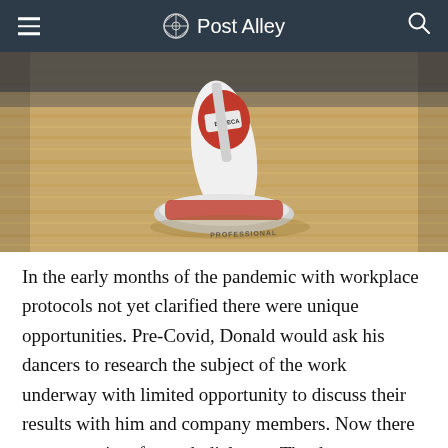Post Alley
[Figure (photo): A red and white professional vacuum cleaner on a light wood floor]
In the early months of the pandemic with workplace protocols not yet clarified there were unique opportunities. Pre-Covid, Donald would ask his dancers to research the subject of the work underway with limited opportunity to discuss their results with him and company members. Now there was more time for such dialogue. The dancers responded enthusiastically to what they learned even if at times their explorations might be emotionally wrenching.